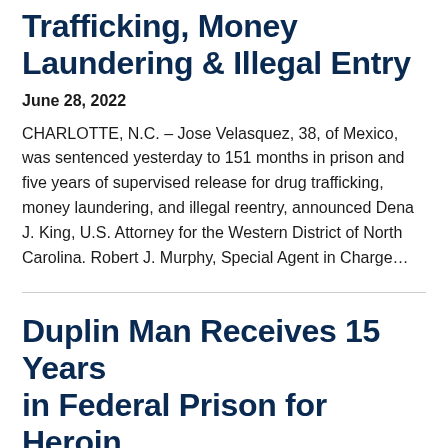Trafficking, Money Laundering & Illegal Entry
June 28, 2022
CHARLOTTE, N.C. – Jose Velasquez, 38, of Mexico, was sentenced yesterday to 151 months in prison and five years of supervised release for drug trafficking, money laundering, and illegal reentry, announced Dena J. King, U.S. Attorney for the Western District of North Carolina. Robert J. Murphy, Special Agent in Charge...
Duplin Man Receives 15 Years in Federal Prison for Heroin and Methamphetamine Trafficking